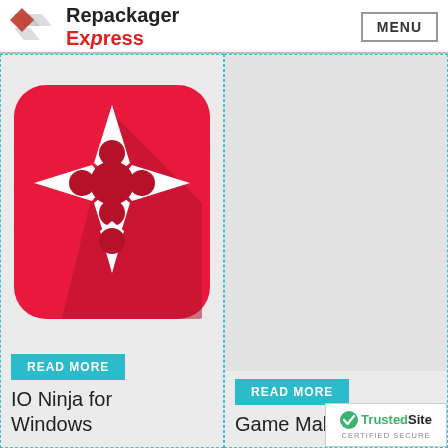[Figure (logo): Repackager Express logo with geometric icon and text]
MENU
[Figure (illustration): IO Ninja app icon: red rounded square with white shuriken/ninja star shape and dark shadow]
READ MORE
IO Ninja for Windows
[Figure (photo): Empty placeholder card for Game Maker Studio]
READ MORE
Game Maker Studio
[Figure (logo): TrustedSite Certified Secure badge]